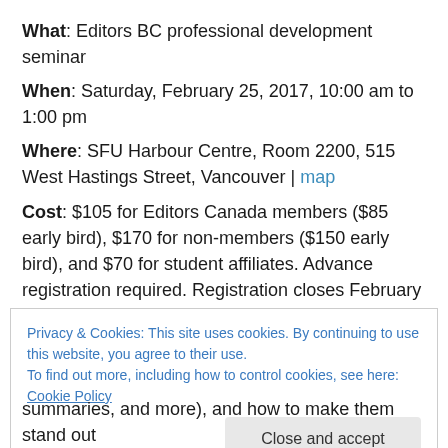What: Editors BC professional development seminar
When: Saturday, February 25, 2017, 10:00 am to 1:00 pm
Where: SFU Harbour Centre, Room 2200, 515 West Hastings Street, Vancouver | map
Cost: $105 for Editors Canada members ($85 early bird), $170 for non-members ($150 early bird), and $70 for student affiliates. Advance registration required. Registration closes February 17; early-bird rates are in effect through February 3.
A thorough book proposal is required for most non-fiction
Privacy & Cookies: This site uses cookies. By continuing to use this website, you agree to their use.
To find out more, including how to control cookies, see here: Cookie Policy
Close and accept
summaries, and more), and how to make them stand out